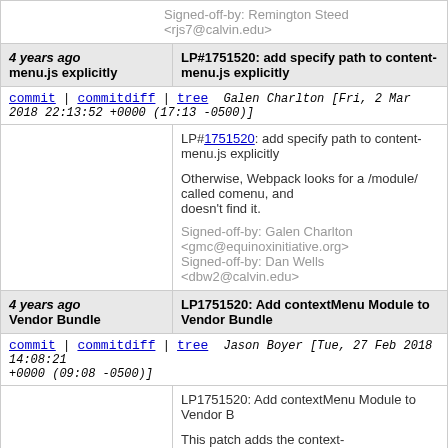Signed-off-by: Remington Steed <rjs7@calvin.edu>
4 years ago menu.js explicitly | LP#1751520: add specify path to content-menu.js explicitly
commit | commitdiff | tree  Galen Charlton [Fri, 2 Mar 2018 22:13:52 +0000 (17:13 -0500)]
LP#1751520: add specify path to content-menu.js explicitly

Otherwise, Webpack looks for a /module/ called content-menu, and doesn't find it.

Signed-off-by: Galen Charlton <gmc@equinoxinitiative.org>
Signed-off-by: Dan Wells <dbw2@calvin.edu>
4 years ago Vendor Bundle | LP1751520: Add contextMenu Module to Vendor Bundle
commit | commitdiff | tree  Jason Boyer [Tue, 27 Feb 2018 14:08:21 +0000 (09:08 -0500)]
LP1751520: Add contextMenu Module to Vendor Bundle

This patch adds the context-menu.js file to the vendor